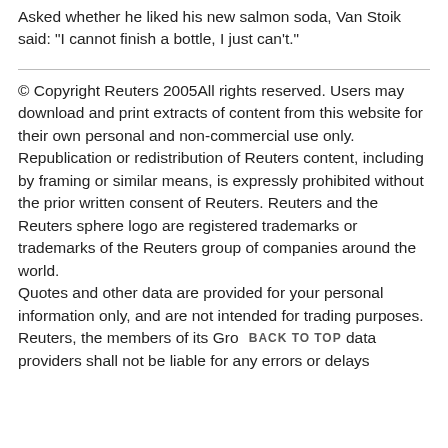Asked whether he liked his new salmon soda, Van Stoik said: "I cannot finish a bottle, I just can't."
© Copyright Reuters 2005All rights reserved. Users may download and print extracts of content from this website for their own personal and non-commercial use only. Republication or redistribution of Reuters content, including by framing or similar means, is expressly prohibited without the prior written consent of Reuters. Reuters and the Reuters sphere logo are registered trademarks or trademarks of the Reuters group of companies around the world. Quotes and other data are provided for your personal information only, and are not intended for trading purposes. Reuters, the members of its Gro BACK TO TOP data providers shall not be liable for any errors or delays